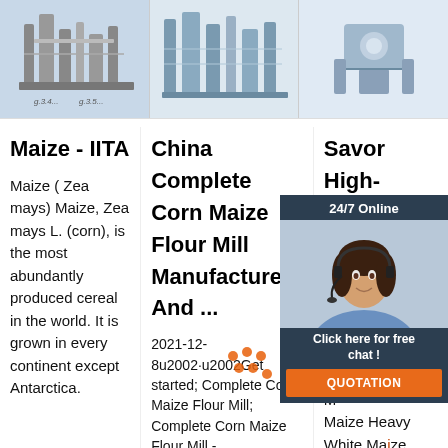[Figure (photo): Three machinery/equipment photos in a row — industrial corn/grain milling equipment on white/grey backgrounds]
Maize - IITA
Maize ( Zea mays) Maize, Zea mays L. (corn), is the most abundantly produced cereal in the world. It is grown in every continent except Antarctica.
China Complete Corn Maize Flour Mill Manufacturers And ...
2021-12-8u2002·u2002Get started; Complete Corn Maize Flour Mill; Complete Corn Maize Flour Mill -
Savor High-G W G D C
W M Maize Heavy White Maize Flour Mill Machine Grain Mill Flour Mill
[Figure (photo): Chat widget overlay with a customer service representative wearing a headset, dark background, '24/7 Online' header, 'Click here for free chat!' text, and orange QUOTATION button]